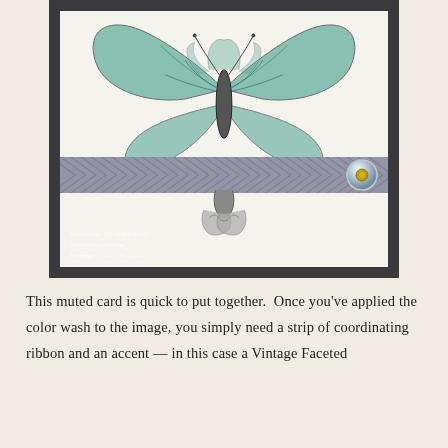[Figure (photo): A handmade greeting card with a butterfly stamp image colored with teal/green color wash, mounted on dark charcoal card base. A gray chevron-patterned ribbon band crosses the card horizontally, with a crystal/faceted gem accent on the right side. The card has a watermark reading 'Created by The Artful Inker', 'Theartfulinker.com', 'Stampin' Up!®1990-2014'.]
This muted card is quick to put together. Once you've applied the color wash to the image, you simply need a strip of coordinating ribbon and an accent — in this case a Vintage Faceted